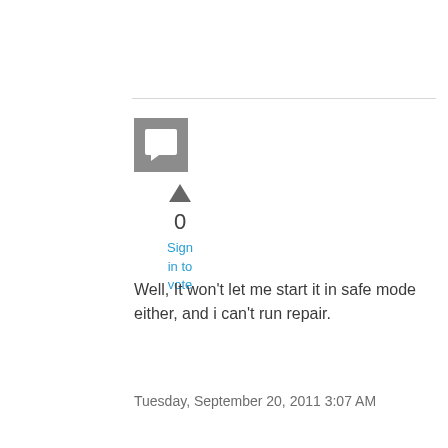[Figure (other): User avatar placeholder icon — grey square with white speech bubble/comment icon]
0
Sign in to vote
Well, It won't let me start it in safe mode either, and i can't run repair.
Tuesday, September 20, 2011 3:07 AM